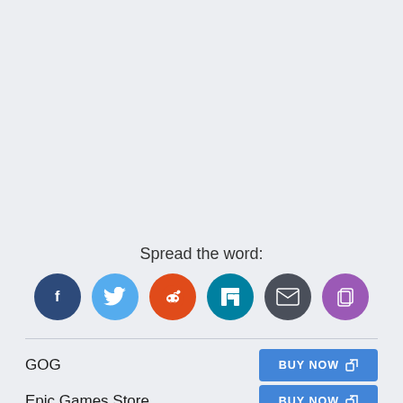Spread the word:
[Figure (infographic): Six social share icon buttons in circles: Facebook (dark blue), Twitter (light blue), Reddit (orange-red), LinkedIn (teal), Email (dark gray), Copy (purple)]
GOG
BUY NOW
Epic Games Store
BUY NOW